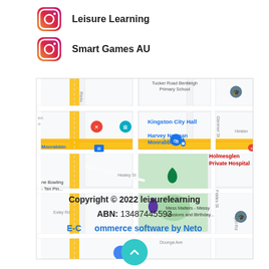Leisure Learning
Smart Games AU
[Figure (map): Google Maps screenshot showing area around Kingston City Hall and Harvey Norman Moorabbin, with landmarks including Tucker Road Bentleigh Primary School, Holmesglen Private Hospital, Mess Matters - Messy Sessions and Birthday, Moorabbin station, and various streets including Healey St, Doonga Ave, Exley Rd, Fiddes St, and Chapel Rd.]
Copyright © 2022 leisurelearning
ABN: 13487445593
E-Commerce software by Neto